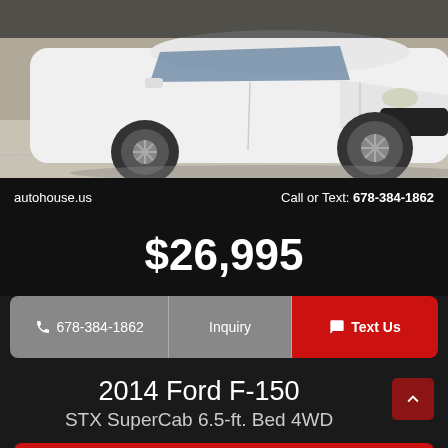[Figure (photo): White minivan (Toyota Sienna) photographed from the front-left side in a parking lot, on a light concrete surface]
autohouse.us    Call or Text: 678-384-1862
$26,995
📞 678-384-1862   Inquiry   💬 Text Us
2014 Ford F-150
STX SuperCab 6.5-ft. Bed 4WD
💬 Text Us